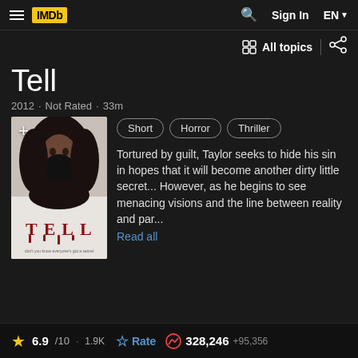IMDb  Sign In  EN
All topics
Tell
2012 · Not Rated · 33m
[Figure (photo): Movie poster for Tell (2012) showing a figure with long dark hair and beard, with 'TELL' written in dripping letters below]
Short  Horror  Thriller
Tortured by guilt, Taylor seeks to hide his sin in hopes that it will become another dirty little secret... However, as he begins to see menacing visions and the line between reality and par...
Read all
6.9/10 · 1.9K  Rate  328,246 +95,356